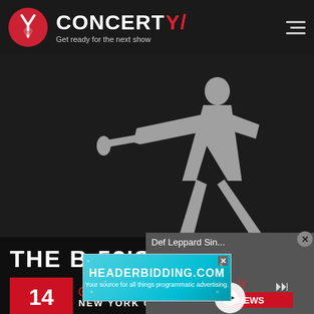[Figure (screenshot): Concerty website header with logo (red circle with Y icon), CONCERTY text with red slash, tagline 'Get ready for the next show', and hamburger menu icon on dark background]
[Figure (screenshot): Concert website main area showing silhouette of guitarist on dark background, band name 'THE B-52'S', date '14' in red box, 'BEACON T...' venue name in red, 'NEW YORK CI...' city text, and overlaid video popup showing 'Def Leppard Sin...' title with Le Bonheur News player controls]
[Figure (screenshot): Advertisement banner for HEADERBIDDING.COM with tagline 'Your source for all things programmatic advertising.' on teal/cyan gradient background]